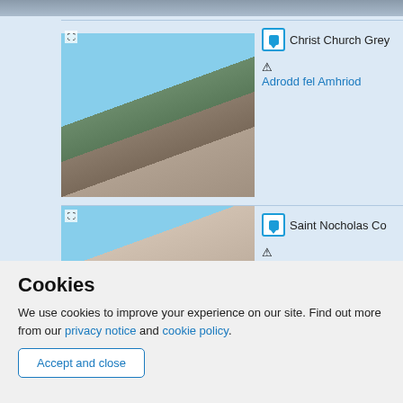[Figure (photo): Partial view of a church building at top of page, cropped]
[Figure (photo): Christ Church Greyfriars or similar historic London church building with tower, photographed from street level]
Christ Church Grey
Adrodd fel Amhriod
[Figure (photo): Saint Nicholas Cole Abbey or similar London church with steeple, photographed from street level]
Saint Nocholas Co
Adrodd fel Amhriod
Cookies
We use cookies to improve your experience on our site. Find out more from our privacy notice and cookie policy.
Accept and close